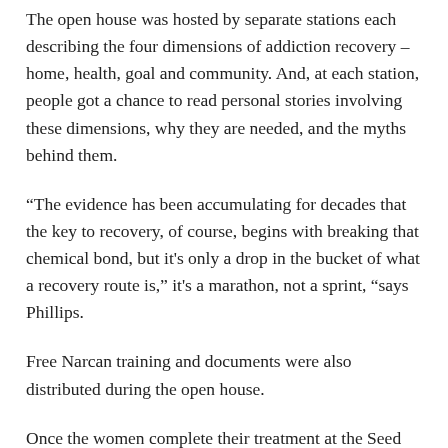The open house was hosted by separate stations each describing the four dimensions of addiction recovery – home, health, goal and community. And, at each station, people got a chance to read personal stories involving these dimensions, why they are needed, and the myths behind them.
“The evidence has been accumulating for decades that the key to recovery, of course, begins with breaking that chemical bond, but it's only a drop in the bucket of what a recovery route is,” it's a marathon, not a sprint, “says Phillips.
Free Narcan training and documents were also distributed during the open house.
Once the women complete their treatment at the Seed Sower home in Dawson, they will be eligible to participate in a gradual unsupervised housing program – the organization plans to open its first location for Montgomery, which they will launch in the next few months.